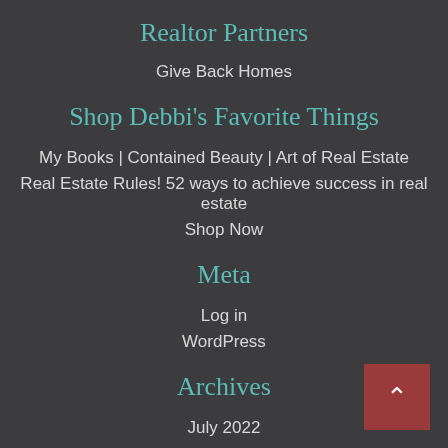Realtor Partners
Give Back Homes
Shop Debbi's Favorite Things
My Books | Contained Beauty | Art of Real Estate
Real Estate Rules! 52 ways to achieve success in real estate
Shop Now
Meta
Log in
WordPress
Archives
July 2022